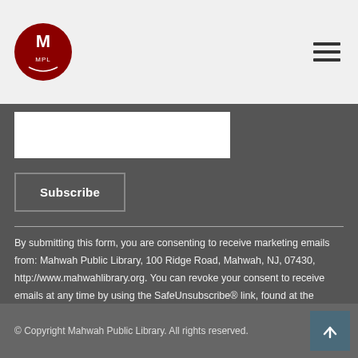Mahwah Public Library logo and navigation menu
[Figure (other): White input field for email subscription form]
Subscribe
By submitting this form, you are consenting to receive marketing emails from: Mahwah Public Library, 100 Ridge Road, Mahwah, NJ, 07430, http://www.mahwahlibrary.org. You can revoke your consent to receive emails at any time by using the SafeUnsubscribe® link, found at the bottom of every email. Emails are serviced by Constant Contact
© Copyright Mahwah Public Library. All rights reserved.